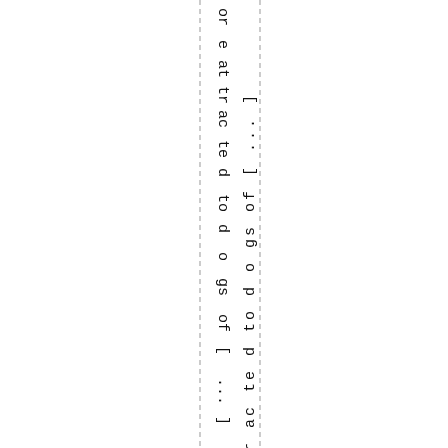or e at tr ac te d to d o gs of [ ... ]
April 8th, 20...